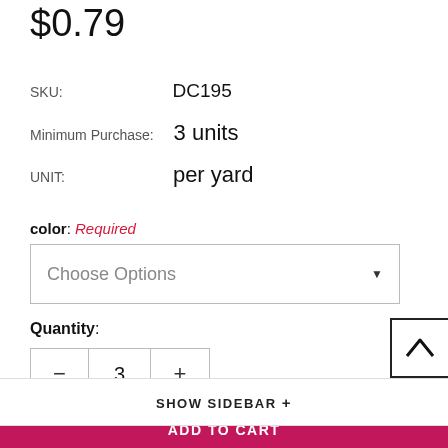$0.79
SKU: DC195
Minimum Purchase: 3 units
UNIT: per yard
color: Required
Choose Options
Quantity: 3
ADD TO CART
SHOW SIDEBAR +